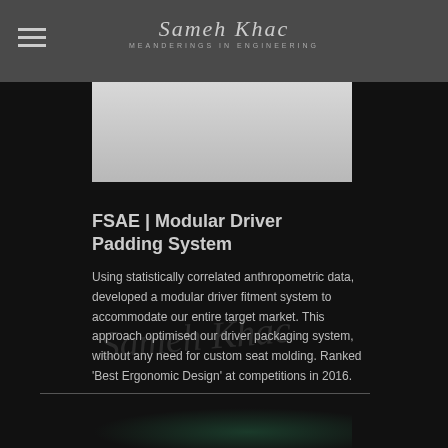Sameh Khac — Meanderings in Engineering
[Figure (photo): Partial view of a car or engineering component, light grey tones, top portion of the image]
FSAE | Modular Driver Padding System
Using statistically correlated anthropometric data, developed a modular driver fitment system to accommodate our entire target market. This approach optimised our driver packaging system, without any need for custom seat molding. Ranked 'Best Ergonomic Design' at competitions in 2016.
[Figure (photo): Partial view of a racing car interior/dashboard, dark tones, bottom of page]